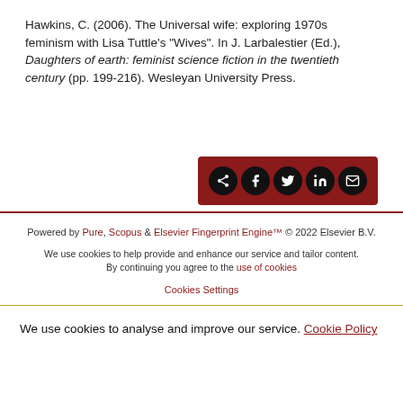Hawkins, C. (2006). The Universal wife: exploring 1970s feminism with Lisa Tuttle's "Wives". In J. Larbalestier (Ed.), Daughters of earth: feminist science fiction in the twentieth century (pp. 199-216). Wesleyan University Press.
[Figure (other): Dark red share bar with icons for share, Facebook, Twitter, LinkedIn, and email]
Powered by Pure, Scopus & Elsevier Fingerprint Engine™ © 2022 Elsevier B.V.

We use cookies to help provide and enhance our service and tailor content. By continuing you agree to the use of cookies

Cookies Settings
We use cookies to analyse and improve our service. Cookie Policy